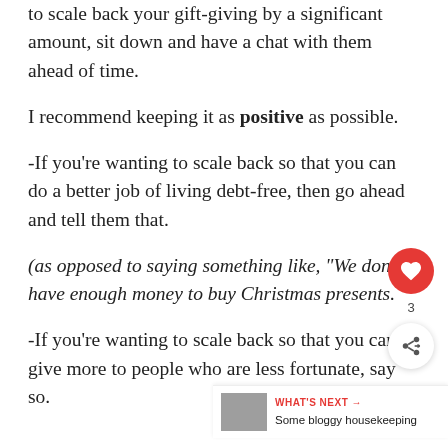to scale back your gift-giving by a significant amount, sit down and have a chat with them ahead of time.
I recommend keeping it as positive as possible.
-If you're wanting to scale back so that you can do a better job of living debt-free, then go ahead and tell them that.
(as opposed to saying something like, "We don't have enough money to buy Christmas presents."
-If you're wanting to scale back so that you can give more to people who are less fortunate, say so.